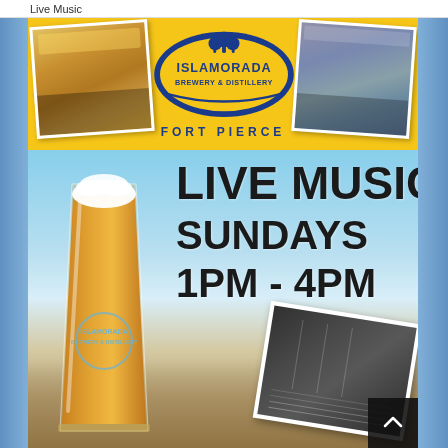Live Music
[Figure (infographic): Islamorada Brewery & Distillery Fort Pierce promotional flyer for Live Music Sundays 1PM - 4PM, featuring the brewery logo, a beer glass with Islamorada branding, polaroid-style photos of a crowd and a guitarist, set against a beach/sky background.]
LIVE MUSIC
SUNDAYS
1PM - 4PM